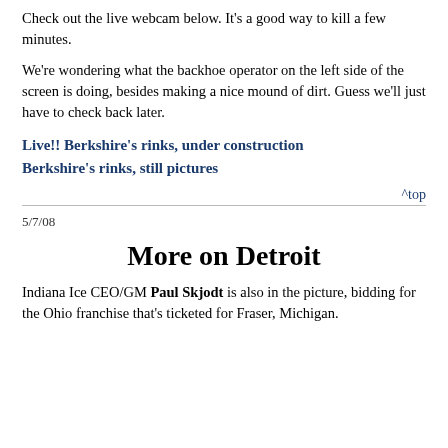Check out the live webcam below. It's a good way to kill a few minutes.
We're wondering what the backhoe operator on the left side of the screen is doing, besides making a nice mound of dirt. Guess we'll just have to check back later.
Live!! Berkshire's rinks, under construction
Berkshire's rinks, still pictures
^top
5/7/08
More on Detroit
Indiana Ice CEO/GM Paul Skjodt is also in the picture, bidding for the Ohio franchise that's ticketed for Fraser, Michigan.